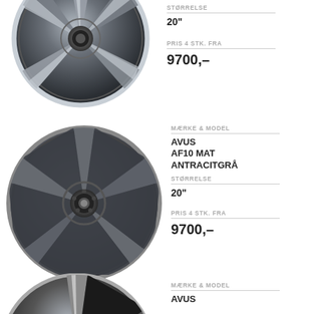[Figure (photo): Alloy wheel photo top (partially cropped) - AVUS AF10 polished anthracite]
STØRRELSE
20"
PRIS 4 STK. FRA
9700,-
[Figure (photo): Alloy wheel photo middle - AVUS AF10 MAT ANTRACITGRÅ]
MÆRKE & MODEL
AVUS AF10 MAT ANTRACITGRÅ
STØRRELSE
20"
PRIS 4 STK. FRA
9700,-
[Figure (photo): Alloy wheel photo bottom (partially cropped) - AVUS]
MÆRKE & MODEL
AVUS